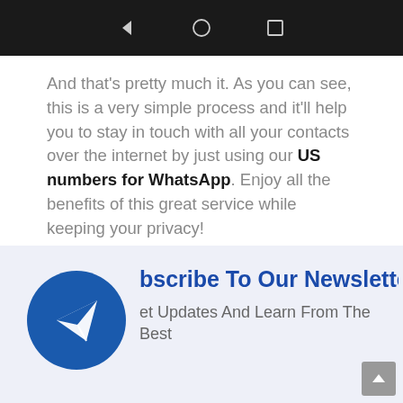[Figure (screenshot): Mobile phone navigation bar (back, home, recents buttons) on dark background]
And that’s pretty much it. As you can see, this is a very simple process and it’ll help you to stay in touch with all your contacts over the internet by just using our US numbers for WhatsApp. Enjoy all the benefits of this great service while keeping your privacy!
[Figure (infographic): Subscribe To Our Newsletter section with blue circular Telegram-style paper plane icon, title 'Subscribe To Our Newsletter', subtitle 'Get Updates And Learn From The Best']